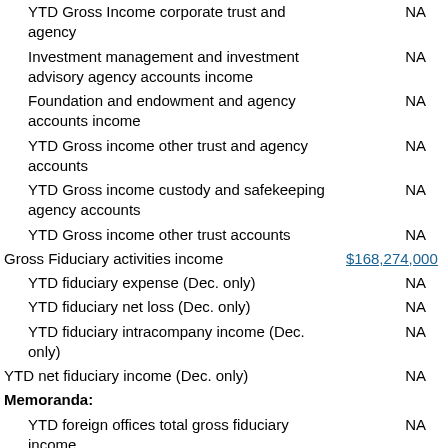| Description | Value 1 | Value 2 |
| --- | --- | --- |
| YTD Gross Income corporate trust and agency | NA | NA |
| Investment management and investment advisory agency accounts income | NA | NA |
| Foundation and endowment and agency accounts income | NA | NA |
| YTD Gross income other trust and agency accounts | NA | NA |
| YTD Gross income custody and safekeeping agency accounts | NA | NA |
| YTD Gross income other trust accounts | NA | NA |
| Gross Fiduciary activities income | $168,274,000 | 9 |
| YTD fiduciary expense (Dec. only) | NA | NA |
| YTD fiduciary net loss (Dec. only) | NA | NA |
| YTD fiduciary intracompany income (Dec. only) | NA | NA |
| YTD net fiduciary income (Dec. only) | NA | NA |
| Memoranda: |  |  |
| YTD foreign offices total gross fiduciary income | NA | NA |